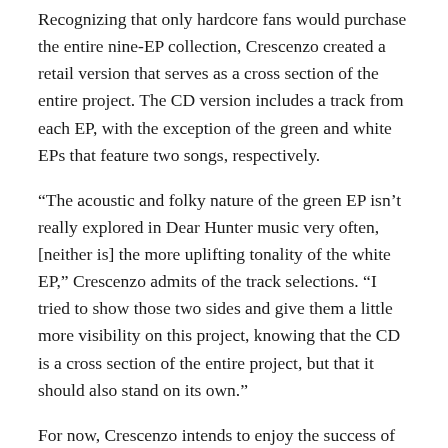Recognizing that only hardcore fans would purchase the entire nine-EP collection, Crescenzo created a retail version that serves as a cross section of the entire project. The CD version includes a track from each EP, with the exception of the green and white EPs that feature two songs, respectively.
“The acoustic and folky nature of the green EP isn’t really explored in Dear Hunter music very often, [neither is] the more uplifting tonality of the white EP,” Crescenzo admits of the track selections. “I tried to show those two sides and give them a little more visibility on this project, knowing that the CD is a cross section of the entire project, but that it should also stand on its own.”
For now, Crescenzo intends to enjoy the success of finishing another ambitious project and tour the hell out of the album. He acknowledges the persistent inquiries about “Act IV.” For those unfamiliar, the band is based on a story Crescenzo wrote about a fictional character (The Dear Hunter). The story